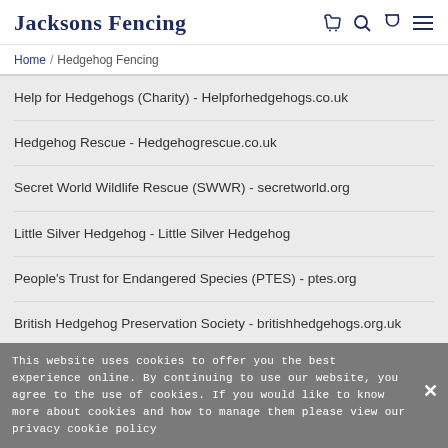Jacksons Fencing
Home / Hedgehog Fencing
Help for Hedgehogs (Charity) - Helpforhedgehogs.co.uk
Hedgehog Rescue - Hedgehogrescue.co.uk
Secret World Wildlife Rescue (SWWR) - secretworld.org
Little Silver Hedgehog - Little Silver Hedgehog
People's Trust for Endangered Species (PTES) - ptes.org
British Hedgehog Preservation Society - britishhedgehogs.org.uk
Snuffles Hedgehog Rescue Four Oaks - Snuffles Hedgehog Rescue Four Oaks
This website uses cookies to offer you the best experience online. By continuing to use our website, you agree to the use of cookies. If you would like to know more about cookies and how to manage them please view our privacy cookie policy